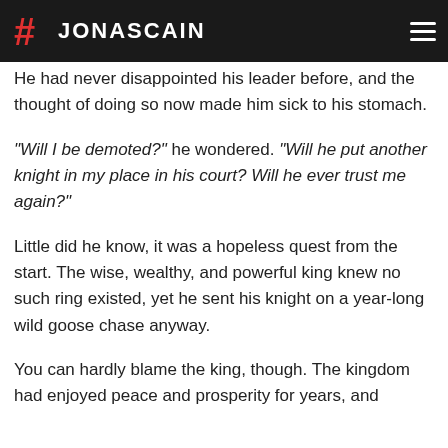#JONASCAIN
He had never disappointed his leader before, and the thought of doing so now made him sick to his stomach.
“Will I be demoted?” he wondered. “Will he put another knight in my place in his court? Will he ever trust me again?”
Little did he know, it was a hopeless quest from the start. The wise, wealthy, and powerful king knew no such ring existed, yet he sent his knight on a year-long wild goose chase anyway.
You can hardly blame the king, though. The kingdom had enjoyed peace and prosperity for years, and